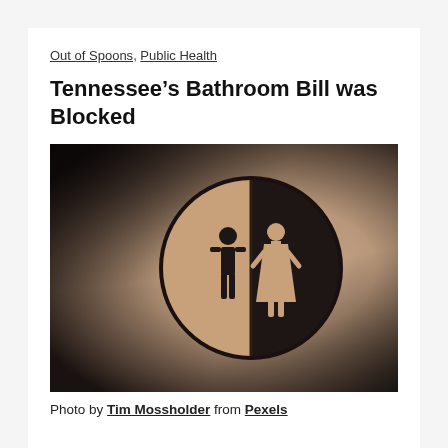Out of Spoons, Public Health
Tennessee’s Bathroom Bill was Blocked
[Figure (photo): A circular wooden bathroom sign split into two halves: left half (natural wood color) shows a male figure silhouette in dark, right half (dark/black) shows a female figure silhouette in light color. The sign is mounted on a blurred beige/taupe wall with dark vignette corners.]
Photo by Tim Mossholder from Pexels